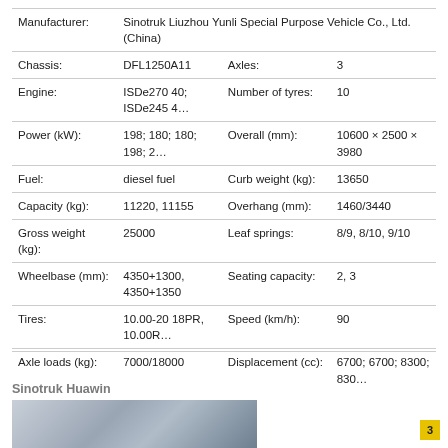| Manufacturer: | Sinotruk Liuzhou Yunli Special Purpose Vehicle Co., Ltd. (China) |  |  |
| Chassis: | DFL1250A11 | Axles: | 3 |
| Engine: | ISDe270 40; ISDe245 4… | Number of tyres: | 10 |
| Power (kW): | 198; 180; 180; 198; 2… | Overall (mm): | 10600 × 2500 × 3980 |
| Fuel: | diesel fuel | Curb weight (kg): | 13650 |
| Capacity (kg): | 11220, 11155 | Overhang (mm): | 1460/3440 |
| Gross weight (kg): | 25000 | Leaf springs: | 8/9, 8/10, 9/10 |
| Wheelbase (mm): | 4350+1300, 4350+1350 | Seating capacity: | 2, 3 |
| Tires: | 10.00-20 18PR, 10.00R… | Speed (km/h): | 90 |
| Axle loads (kg): | 7000/18000 | Displacement (cc): | 6700; 6700; 8300; 830… |
Sinotruk Huawin
[Figure (photo): Partial photo of a Sinotruk Huawin vehicle, showing rear/side diagonal metal panels]
3